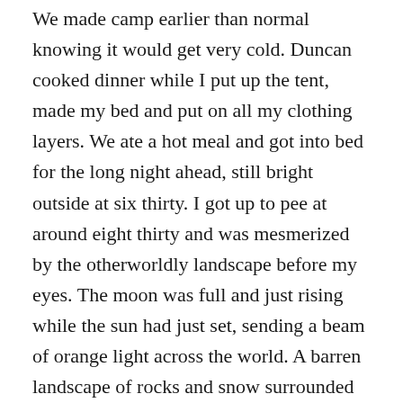We made camp earlier than normal knowing it would get very cold. Duncan cooked dinner while I put up the tent, made my bed and put on all my clothing layers. We ate a hot meal and got into bed for the long night ahead, still bright outside at six thirty. I got up to pee at around eight thirty and was mesmerized by the otherworldly landscape before my eyes. The moon was full and just rising while the sun had just set, sending a beam of orange light across the world. A barren landscape of rocks and snow surrounded me, nothing but the sound of gently whipping wind.
To calm my nerves Duncan told me the second chapter of a story he had been making up while